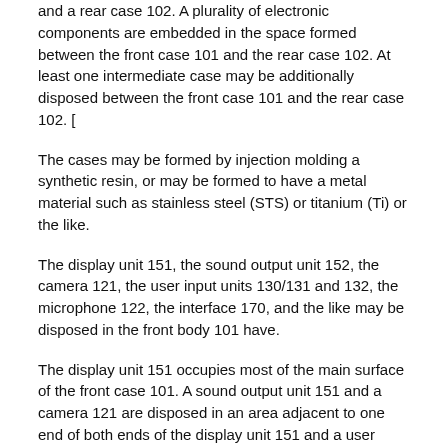and a rear case 102. A plurality of electronic components are embedded in the space formed between the front case 101 and the rear case 102. At least one intermediate case may be additionally disposed between the front case 101 and the rear case 102. [
The cases may be formed by injection molding a synthetic resin, or may be formed to have a metal material such as stainless steel (STS) or titanium (Ti) or the like.
The display unit 151, the sound output unit 152, the camera 121, the user input units 130/131 and 132, the microphone 122, the interface 170, and the like may be disposed in the front body 101 have.
The display unit 151 occupies most of the main surface of the front case 101. A sound output unit 151 and a camera 121 are disposed in an area adjacent to one end of both ends of the display unit 151 and a user input unit 131 and a microphone 122 are disposed in an area adjacent to the other end. The user input unit 132, the interface 170, and the like are disposed on the side surfaces of the front case 101 and the rear case 102.
The user input unit 130 is operated to receive a command